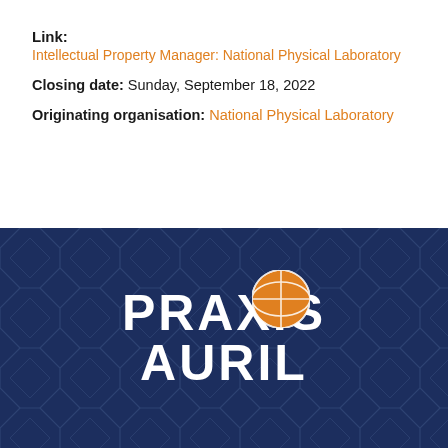Link:
Intellectual Property Manager: National Physical Laboratory
Closing date: Sunday, September 18, 2022
Originating organisation: National Physical Laboratory
[Figure (logo): Praxis Auril logo: white bold text 'PRAXIS AURIL' with an orange circle with network/web pattern, on a dark navy blue background with subtle geometric tile pattern.]